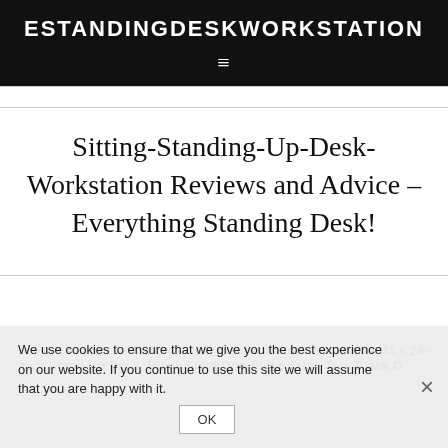ESTANDINGDESKWORKSTATION
Sitting-Standing-Up-Desk-Workstation Reviews and Advice – Everything Standing Desk!
We use cookies to ensure that we give you the best experience on our website. If you continue to use this site we will assume that you are happy with it.
Home » Products » VIVO 43-inch Electric Height Adjustable 43 x 24-inch Stand Up Desk, Black Solid One-Piece Table Top, Black D...